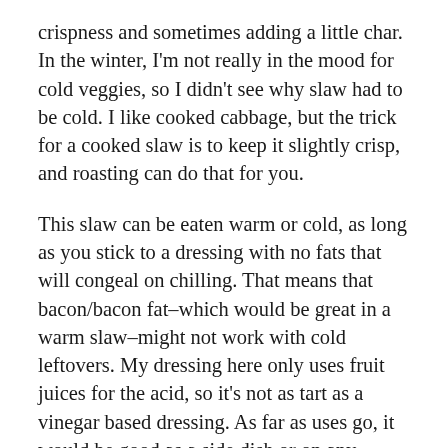crispness and sometimes adding a little char. In the winter, I'm not really in the mood for cold veggies, so I didn't see why slaw had to be cold. I like cooked cabbage, but the trick for a cooked slaw is to keep it slightly crisp, and roasting can do that for you.
This slaw can be eaten warm or cold, as long as you stick to a dressing with no fats that will congeal on chilling. That means that bacon/bacon fat–which would be great in a warm slaw–might not work with cold leftovers. My dressing here only uses fruit juices for the acid, so it's not as tart as a vinegar based dressing. As far as uses go, it would be good as a side dish or on any sandwich where you would use a traditional cold slaw. You can see it below on a fried fish sandwich with my Everything Sauce.
Mine is a simple slaw of cabbage and carrots, but you could add in a few more vegetables for extra color...